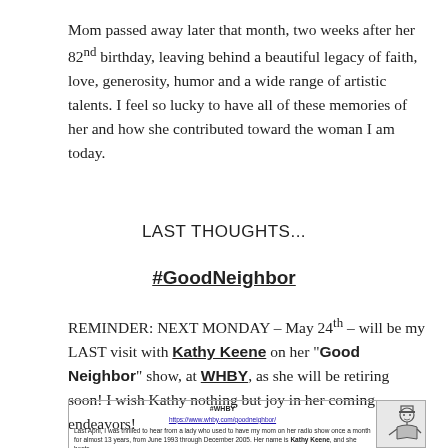Mom passed away later that month, two weeks after her 82nd birthday, leaving behind a beautiful legacy of faith, love, generosity, humor and a wide range of artistic talents. I feel so lucky to have all of these memories of her and how she contributed toward the woman I am today.
LAST THOUGHTS...
#GoodNeighbor
REMINDER: NEXT MONDAY – May 24th – will be my LAST visit with Kathy Keene on her "Good Neighbor" show, at WHBY, as she will be retiring soon! I wish Kathy nothing but joy in her coming endeavors!
[Figure (screenshot): Embedded box showing #WHBY header, a URL https://www.whby.com/goodneighbor/, and partial text about Kathy Keene's radio show, with a small illustration of a person on the right.]